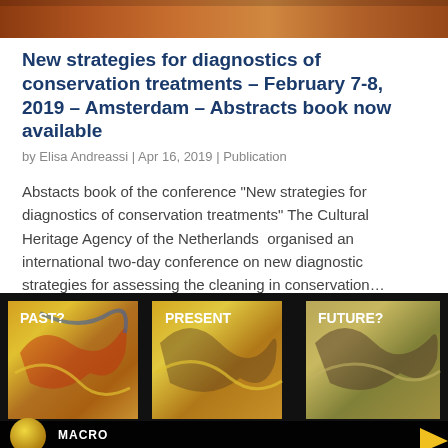[Figure (photo): Top banner image showing warm orange/brown tones, partial view of an artwork or decorative image]
New strategies for diagnostics of conservation treatments – February 7-8, 2019 – Amsterdam – Abstracts book now available
by Elisa Andreassi | Apr 16, 2019 | Publication
Abstacts book of the conference “New strategies for diagnostics of conservation treatments” The Cultural Heritage Agency of the Netherlands  organised an international two-day conference on new diagnostic strategies for assessing the cleaning in conservation…
[Figure (photo): Three panel image showing details of a painting (likely Van Gogh) with labels PAST?, PRESENT, FUTURE? and MACRO text at the bottom. Dark background with yellow/orange swirling brushwork details.]